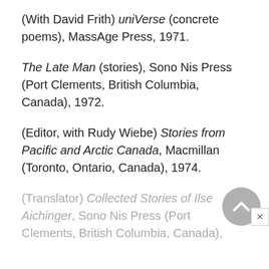(With David Frith) uniVerse (concrete poems), MassAge Press, 1971.
The Late Man (stories), Sono Nis Press (Port Clements, British Columbia, Canada), 1972.
(Editor, with Rudy Wiebe) Stories from Pacific and Arctic Canada, Macmillan (Toronto, Ontario, Canada), 1974.
(Translator) Collected Stories of Ilse Aichinger, Sono Nis Press (Port Clements, British Columbia, Canada),